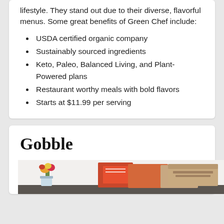lifestyle. They stand out due to their diverse, flavorful menus. Some great benefits of Green Chef include:
USDA certified organic company
Sustainably sourced ingredients
Keto, Paleo, Balanced Living, and Plant-Powered plans
Restaurant worthy meals with bold flavors
Starts at $11.99 per serving
Gobble
[Figure (photo): Photo of a kitchen countertop with meal kit boxes, recipe cards, and fresh ingredients including colorful flowers and vegetables]